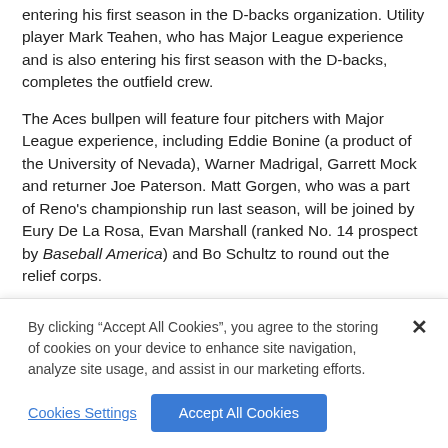entering his first season in the D-backs organization. Utility player Mark Teahen, who has Major League experience and is also entering his first season with the D-backs, completes the outfield crew.
The Aces bullpen will feature four pitchers with Major League experience, including Eddie Bonine (a product of the University of Nevada), Warner Madrigal, Garrett Mock and returner Joe Paterson. Matt Gorgen, who was a part of Reno's championship run last season, will be joined by Eury De La Rosa, Evan Marshall (ranked No. 14 prospect by Baseball America) and Bo Schultz to round out the relief corps.
Outfielder Keon Broxton, Reliever Bryan Henry and Catcher Chris McMurray, who were all a part of the Aces' championship
By clicking “Accept All Cookies”, you agree to the storing of cookies on your device to enhance site navigation, analyze site usage, and assist in our marketing efforts.